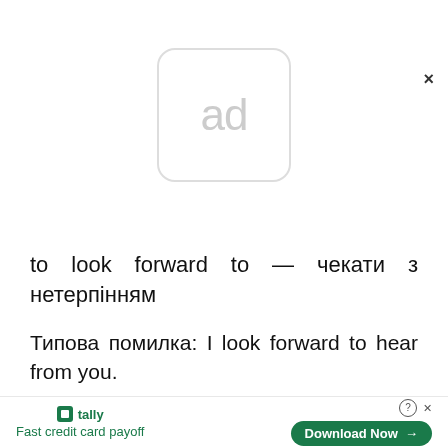[Figure (other): Ad placeholder icon — rounded square with 'ad' text in light gray]
to look forward to — чекати з нетерпінням
Типова помилка: I look forward to hear from you.
Правильна структура: I look forward to
[Figure (other): Bottom advertisement bar: Tally — Fast credit card payoff, Download Now button]